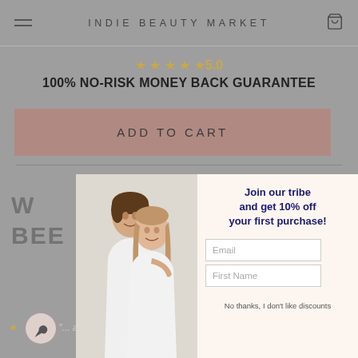INDIE BEAUTY MARKET
★★★★★5.0
100% NO-RISK MONEY BACK GUARANTEE
ADD TO CART
W BEE
[Figure (photo): Popup overlay showing a smiling couple (man and woman in white), with a newsletter signup form on the right side offering 10% off first purchase, email and first name fields, and a 'No thanks, I don't like discounts' link]
Join our tribe and get 10% off your first purchase!
Email
First Name
THAN
No thanks, I don't like discounts
"... and nig